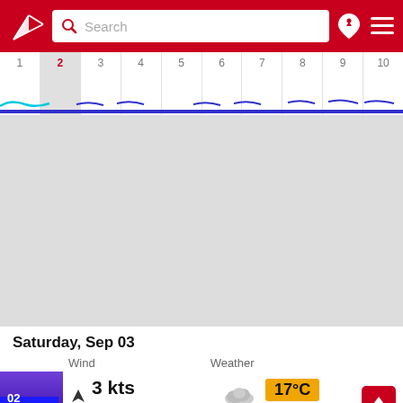Search header with logo, search bar, and navigation icons
[Figure (screenshot): Wind/weather timeline strip showing days 1-10 with day 2 selected (highlighted), with colored wave lines (cyan and blue/purple) along the bottom representing wind data]
[Figure (map): Grey map area showing geographic content (obscured/empty in screenshot)]
Saturday, Sep 03
Wind                     Weather
02  3 kts  max 4 kts  17°C  988 hPa